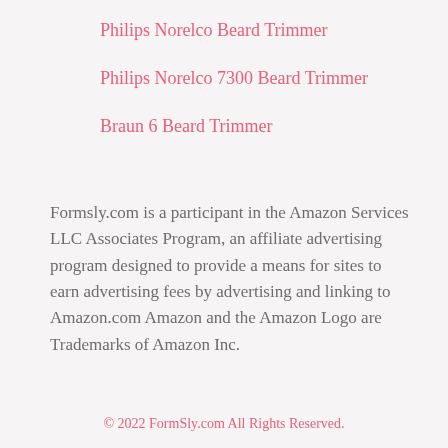Philips Norelco Beard Trimmer
Philips Norelco 7300 Beard Trimmer
Braun 6 Beard Trimmer
Formsly.com is a participant in the Amazon Services LLC Associates Program, an affiliate advertising program designed to provide a means for sites to earn advertising fees by advertising and linking to Amazon.com Amazon and the Amazon Logo are Trademarks of Amazon Inc.
© 2022 FormSly.com All Rights Reserved.